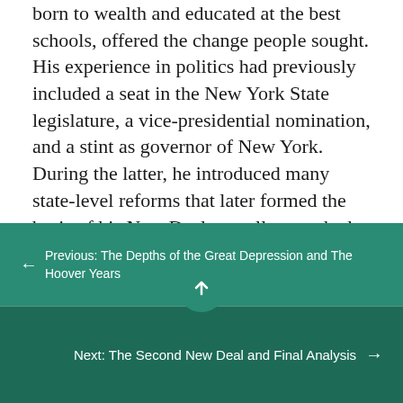born to wealth and educated at the best schools, offered the change people sought. His experience in politics had previously included a seat in the New York State legislature, a vice-presidential nomination, and a stint as governor of New York. During the latter, he introduced many state-level reforms that later formed the basis of his New Deal as well as worked with several advisors who later formed the Brains Trust that advised his federal agenda.

Roosevelt exuded confidence, which the American public desperately wished to see in
← Previous: The Depths of the Great Depression and The Hoover Years
Next: The Second New Deal and Final Analysis →